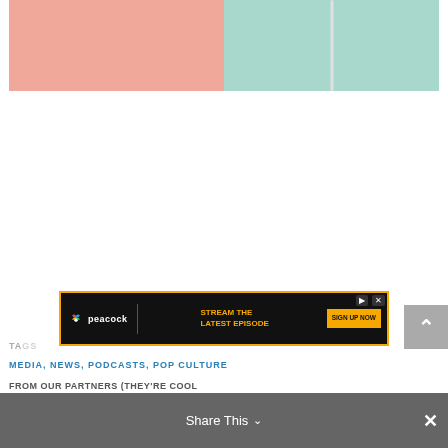[Figure (photo): Split image showing pink (left half) and mint/teal (right half) colored background panels, with a white cord visible between them]
[Figure (screenshot): Peacock streaming advertisement banner: black background with gold border, NBC Peacock logo on left, 'STREAM THE LATEST EPISODE' in gold text, 'SIGN UP NOW' yellow button on right]
TAGS
MEDIA, NEWS, PODCASTS, POP CULTURE
FROM OUR PARTNERS (THEY'RE COOL
Share This
✕